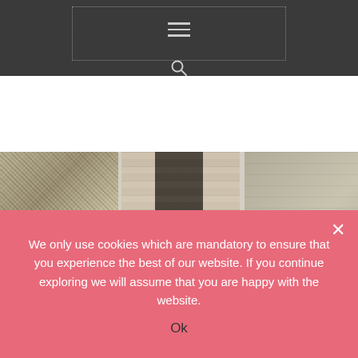[Figure (screenshot): Dark navigation header bar with dotted rectangle border, hamburger menu icon (three horizontal lines), and search (magnifying glass) icon below]
[Figure (photo): Fashion photo collage showing three panels: left panel with a person wearing a textured tweed/knit top, center panel with a person wearing black pants against a wood-plank background, right panel with a person wearing light-colored wide trousers and a knit cardigan]
The Best Fashion Websites to Please
We only use cookies which are mandatory to ensure that you experience the best of our website. If you continue exploring we will assume that you are happy with the website.
Ok